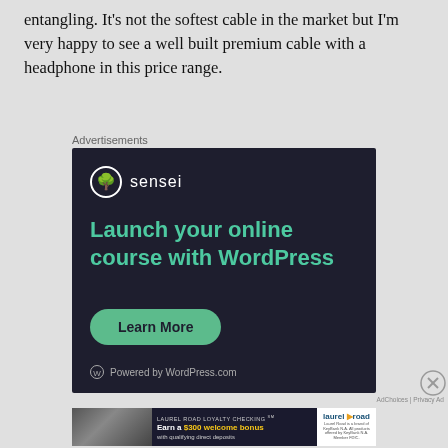entangling. It's not the softest cable in the market but I'm very happy to see a well built premium cable with a headphone in this price range.
Advertisements
[Figure (illustration): Sensei advertisement: dark navy background with Sensei logo (bonsai tree icon and 'sensei' text), headline 'Launch your online course with WordPress' in teal, a 'Learn More' rounded green button, and 'Powered by WordPress.com' footer text.]
Advertisements
[Figure (illustration): Laurel Road Loyalty Checking advertisement: dark background with woman photo on left, text 'LAUREL ROAD LOYALTY CHECKING℠ Earn a $300 welcome bonus with qualifying direct deposits', and Laurel Road logo on right with small disclaimer text.]